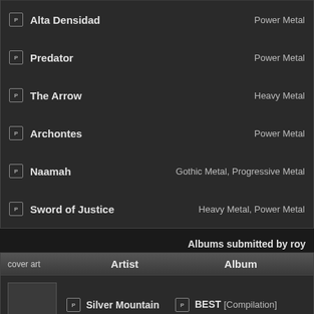Alta Densidad — Power Metal
Predator — Power Metal
The Arrow — Heavy Metal
Archontes — Power Metal
Naamah — Gothic Metal, Progressive Metal
Sword of Justice — Heavy Metal, Power Metal
Albums submitted by roy
| cover art | Artist | Album |
| --- | --- | --- |
|  | Silver Mountain | BEST [Compilation] |
|  | Various Artists | Cover It Up Vol. 1 [Compilation] |
|  | Various Artists | Carmine Appice's Guitar Zeus Korea [Compilation] |
|  | Various Artists | Heavy Metal Love Songs Vol. [Compilation] |